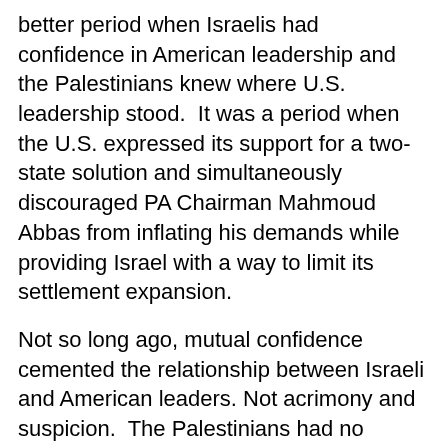better period when Israelis had confidence in American leadership and the Palestinians knew where U.S. leadership stood.  It was a period when the U.S. expressed its support for a two-state solution and simultaneously discouraged PA Chairman Mahmoud Abbas from inflating his demands while providing Israel with a way to limit its settlement expansion.
Not so long ago, mutual confidence cemented the relationship between Israeli and American leaders. Not acrimony and suspicion.  The Palestinians had no opportunity to say, “The Americans are making maximalist demands from the Israelis, so why shouldn’t we?”
So press the reset button to April 14, 2004 when President George W. Bush and Israeli Prime Minister